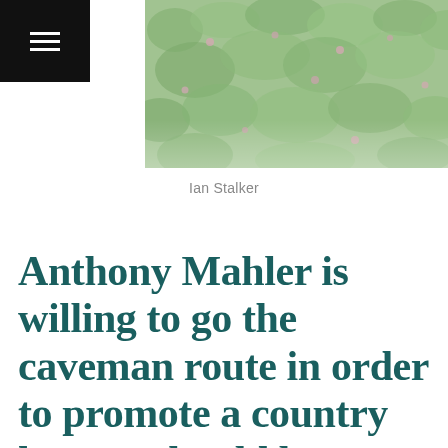[Figure (photo): Close-up photograph of green foliage/plants with small pink flowers, blurred background]
Ian Stalker
Anthony Mahler is willing to go the caveman route in order to promote a country he says should be synonymous with such adventurous